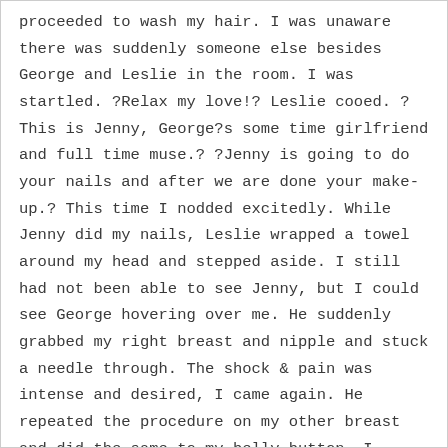proceeded to wash my hair. I was unaware there was suddenly someone else besides George and Leslie in the room. I was startled. ?Relax my love!? Leslie cooed. ?This is Jenny, George?s some time girlfriend and full time muse.? ?Jenny is going to do your nails and after we are done your make-up.? This time I nodded excitedly. While Jenny did my nails, Leslie wrapped a towel around my head and stepped aside. I still had not been able to see Jenny, but I could see George hovering over me. He suddenly grabbed my right breast and nipple and stuck a needle through. The shock & pain was intense and desired, I came again. He repeated the procedure on my other breast and did the same to my belly button. I squealed each time. He then pulled my pants off, removed my garter and nylons and surprised me by